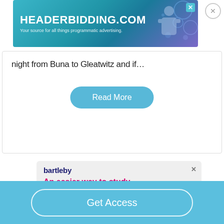[Figure (screenshot): HEADERBIDDING.COM advertisement banner with text 'Your source for all things programmatic advertising.' on a teal/blue gradient background]
night from Buna to Gleatwitz and if…
Read More
[Figure (screenshot): Bartleby advertisement: 'An easier way to study hard! Access thousands of step-by-step explanations to the questions in' with GET STARTED button and illustration of person studying on laptop]
Get Access